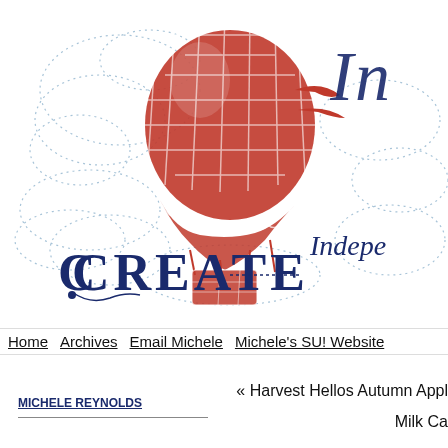[Figure (logo): Blog header with red hot air balloon illustration, decorative 'CREATE' text in dark blue, dotted swirl cloud patterns in light blue, and italic script text on the right side reading 'In...' and 'Indepe...']
Home   Archives   Email Michele   Michele's SU! Website
« Harvest Hellos Autumn Appl...   Milk Ca...
MICHELE REYNOLDS